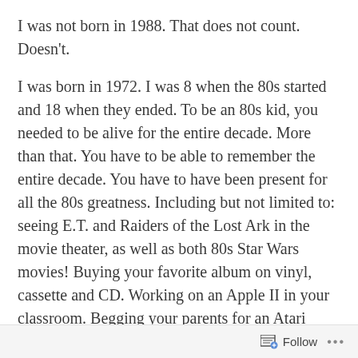I was not born in 1988. That does not count. Doesn't.
I was born in 1972. I was 8 when the 80s started and 18 when they ended. To be an 80s kid, you needed to be alive for the entire decade. More than that. You have to be able to remember the entire decade. You have to have been present for all the 80s greatness. Including but not limited to: seeing E.T. and Raiders of the Lost Ark in the movie theater, as well as both 80s Star Wars movies! Buying your favorite album on vinyl, cassette and CD. Working on an Apple II in your classroom. Begging your parents for an Atari 2600 and then do it again at the end of the decade for a Nintendo!
I hear the “I’m an 80s kid!” all the time. Then I inquire about their life. I hear they say they were born in 1982. I
Follow ...